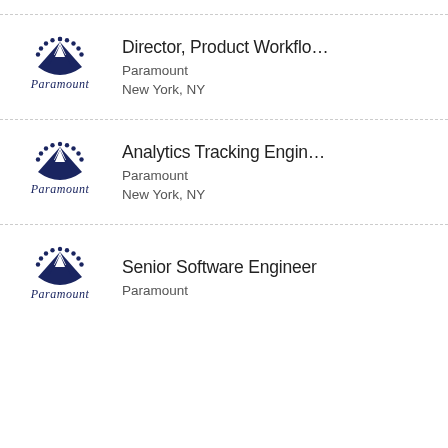[Figure (logo): Paramount logo - dark navy mountain with stars arc and cursive Paramount text]
Director, Product Workflo...
Paramount
New York, NY
[Figure (logo): Paramount logo - dark navy mountain with stars arc and cursive Paramount text]
Analytics Tracking Engin...
Paramount
New York, NY
[Figure (logo): Paramount logo - dark navy mountain with stars arc and cursive Paramount text]
Senior Software Engineer
Paramount